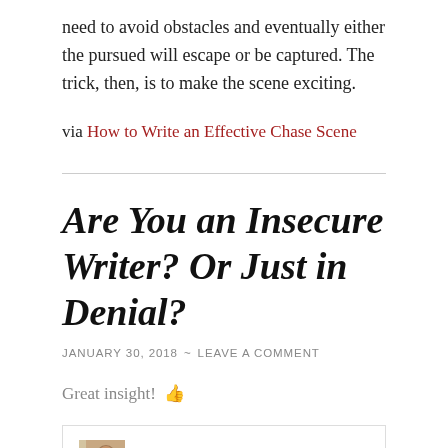need to avoid obstacles and eventually either the pursued will escape or be captured. The trick, then, is to make the scene exciting.
via How to Write an Effective Chase Scene
Are You an Insecure Writer? Or Just in Denial?
JANUARY 30, 2018 ~ LEAVE A COMMENT
Great insight! 👍
Andrea Lundgren